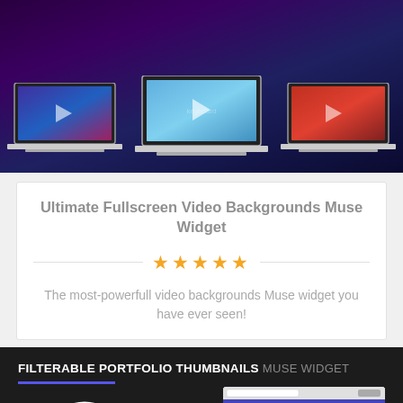[Figure (screenshot): Three laptops displayed on a dark purple/black background, each showing a video player with a play button. Left laptop shows a blue/purple world map video, center laptop shows a blue keyboard video, right laptop shows a red keyboard video.]
Ultimate Fullscreen Video Backgrounds Muse Widget
[Figure (other): Five gold star rating with horizontal lines on each side]
The most-powerfull video backgrounds Muse widget you have ever seen!
[Figure (screenshot): Dark background with text 'FILTERABLE PORTFOLIO THUMBNAILS MUSE WIDGET' and a browser mockup showing a portfolio website with purple header elements.]